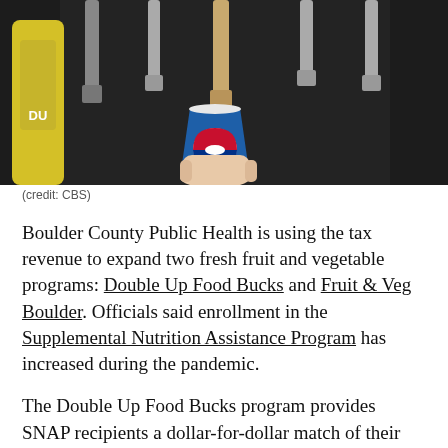[Figure (photo): A hand holding a Pepsi paper cup being filled at a soda fountain dispenser, dark background with multiple dispenser nozzles visible.]
(credit: CBS)
Boulder County Public Health is using the tax revenue to expand two fresh fruit and vegetable programs: Double Up Food Bucks and Fruit & Veg Boulder. Officials said enrollment in the Supplemental Nutrition Assistance Program has increased during the pandemic.
The Double Up Food Bucks program provides SNAP recipients a dollar-for-dollar match of their benefits to purchase fresh fruits and vegetables at the Whole